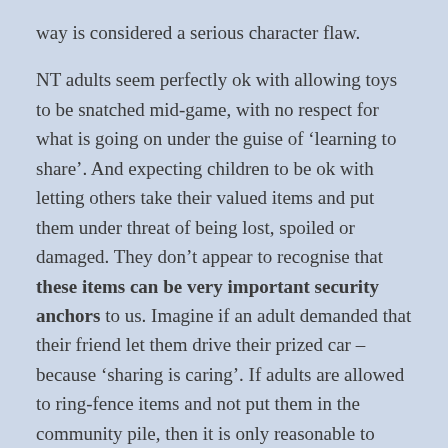way is considered a serious character flaw.
NT adults seem perfectly ok with allowing toys to be snatched mid-game, with no respect for what is going on under the guise of ‘learning to share’. And expecting children to be ok with letting others take their valued items and put them under threat of being lost, spoiled or damaged. They don’t appear to recognise that these items can be very important security anchors to us. Imagine if an adult demanded that their friend let them drive their prized car – because ‘sharing is caring’. If adults are allowed to ring-fence items and not put them in the community pile, then it is only reasonable to allow children the same respect.